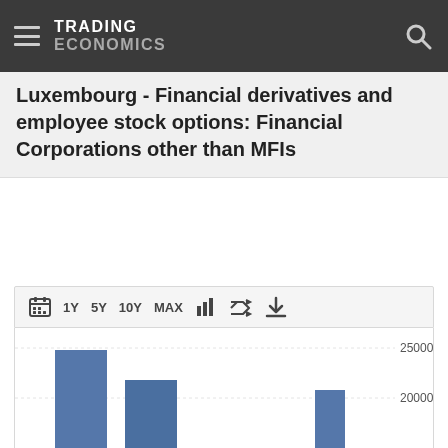TRADING ECONOMICS
Luxembourg - Financial derivatives and employee stock options: Financial Corporations other than MFIs
[Figure (bar-chart): Partial bar chart visible at bottom of page showing values around 18000-23000 range with y-axis labels 20000 and 25000 visible]